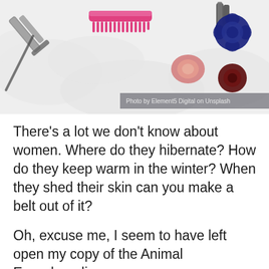[Figure (photo): Overhead flat-lay photo of hair accessories on a white fluffy surface: a pink comb, a flat iron/scissors on the left, a hair tool top right, a pink scrunchie, a navy blue flower-shaped scrunchie, and a dark red scrunchie. Photo credit reads 'Photo by Element5 Digital on Unsplash'.]
Photo by Element5 Digital on Unsplash
There's a lot we don't know about women. Where do they hibernate? How do they keep warm in the winter? When they shed their skin can you make a belt out of it?
Oh, excuse me, I seem to have left open my copy of the Animal Encyclopedia.
There is a bit of a learning curve when you enter into a long-term relationship with a woman, and these men were quick to share their most